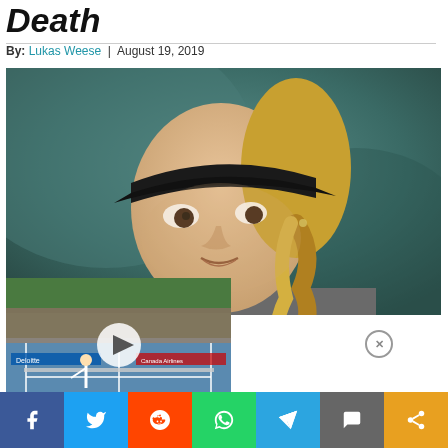Death
By: Lukas Weese | August 19, 2019
[Figure (photo): Close-up photo of a young female tennis player wearing a black visor and gray shirt, with a blonde braided ponytail, looking sideways with an intense expression, against a blurred green background.]
[Figure (screenshot): Video thumbnail showing a tennis court with players and spectators, with a white play button overlay and scoreboard at bottom showing VERDASCO vs ANON, sponsored by Deloitte and Canada Airlines banners visible.]